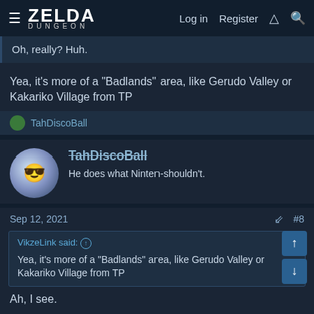ZELDA DUNGEON — Log in  Register
Oh, really? Huh.
Yea, it's more of a "Badlands" area, like Gerudo Valley or Kakariko Village from TP
TahDiscoBall
TahDiscoBall
He does what Ninten-shouldn't.
Sep 12, 2021  #8
VikzeLink said: ↑
Yea, it's more of a "Badlands" area, like Gerudo Valley or Kakariko Village from TP
Ah, I see.